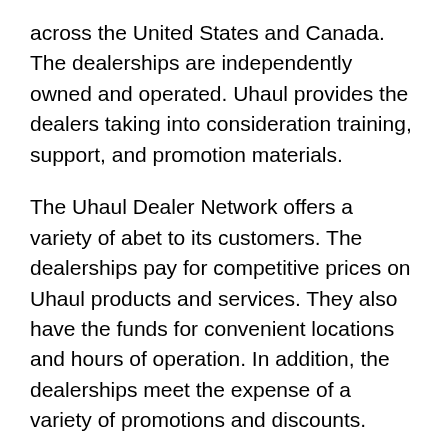across the United States and Canada. The dealerships are independently owned and operated. Uhaul provides the dealers taking into consideration training, support, and promotion materials.
The Uhaul Dealer Network offers a variety of abet to its customers. The dealerships pay for competitive prices on Uhaul products and services. They also have the funds for convenient locations and hours of operation. In addition, the dealerships meet the expense of a variety of promotions and discounts.
Also, this dealer network is a great resource for customers who are looking for competitive prices upon Uhaul products and services. The network offers convenient locations and hours of operation